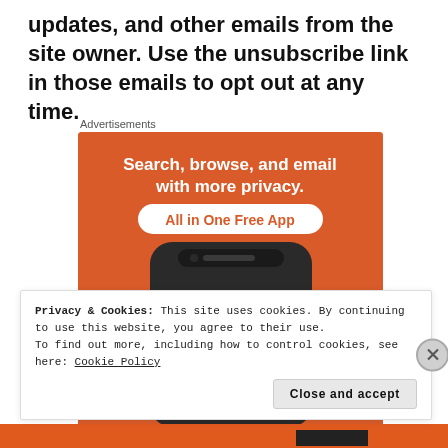updates, and other emails from the site owner. Use the unsubscribe link in those emails to opt out at any time.
Advertisements
[Figure (illustration): DuckDuckGo advertisement showing a smartphone with the DuckDuckGo logo and duck mascot on the screen. Orange background with white bold text: 'Search, browse, and email with more privacy.' and a white pill badge with orange text: 'All in One Free App'. The phone displays 'DuckDuckGo.' text at the bottom.]
Privacy & Cookies: This site uses cookies. By continuing to use this website, you agree to their use.
To find out more, including how to control cookies, see here: Cookie Policy
Close and accept